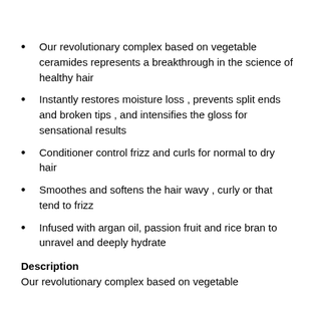Our revolutionary complex based on vegetable ceramides represents a breakthrough in the science of healthy hair
Instantly restores moisture loss , prevents split ends and broken tips , and intensifies the gloss for sensational results
Conditioner control frizz and curls for normal to dry hair
Smoothes and softens the hair wavy , curly or that tend to frizz
Infused with argan oil, passion fruit and rice bran to unravel and deeply hydrate
Description
Our revolutionary complex based on vegetable